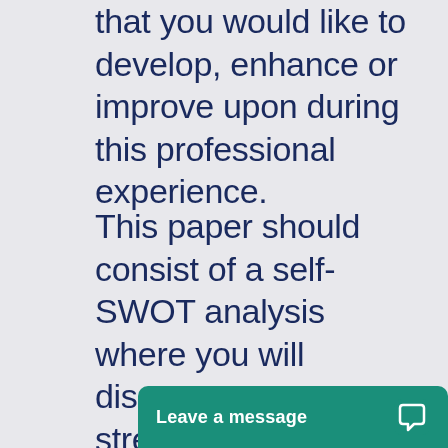that you would like to develop, enhance or improve upon during this professional experience.
This paper should consist of a self-SWOT analysis where you will discuss your own strengths, opportunities, weaknesses and threats to your profess[ional development]. You sh[ould...]
[Figure (other): Chat widget overlay at bottom right: teal/green rounded rectangle with text 'Leave a message' and chat bubble icon]